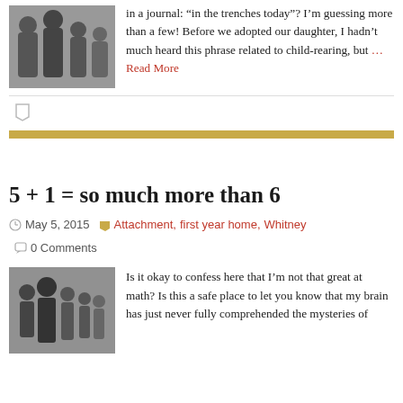[Figure (photo): Black and white photo of people gathered around, appears to be a family or group scene]
in a journal: “in the trenches today”? I’m guessing more than a few! Before we adopted our daughter, I hadn’t much heard this phrase related to child-rearing, but …Read More
[Figure (other): Tag/bookmark icon in gray]
[Figure (other): Gold horizontal bar divider]
5 + 1 = so much more than 6
May 5, 2015   Attachment, first year home, Whitney   0 Comments
[Figure (photo): Black and white photo of a family group with adults and children]
Is it okay to confess here that I’m not that great at math? Is this a safe place to let you know that my brain has just never fully comprehended the mysteries of